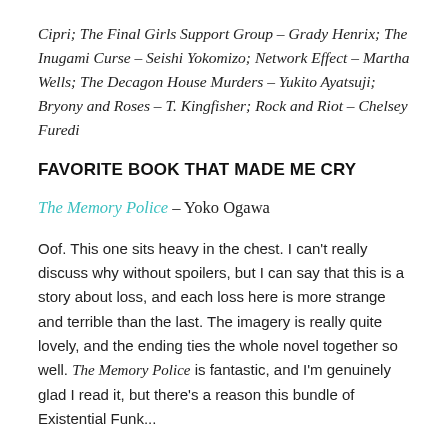Cipri; The Final Girls Support Group – Grady Henrix; The Inugami Curse – Seishi Yokomizo; Network Effect – Martha Wells; The Decagon House Murders – Yukito Ayatsuji; Bryony and Roses – T. Kingfisher; Rock and Riot – Chelsey Furedi
FAVORITE BOOK THAT MADE ME CRY
The Memory Police – Yoko Ogawa
Oof. This one sits heavy in the chest. I can't really discuss why without spoilers, but I can say that this is a story about loss, and each loss here is more strange and terrible than the last. The imagery is really quite lovely, and the ending ties the whole novel together so well. The Memory Police is fantastic, and I'm genuinely glad I read it, but there's a reason this bundle of Existential Funk...